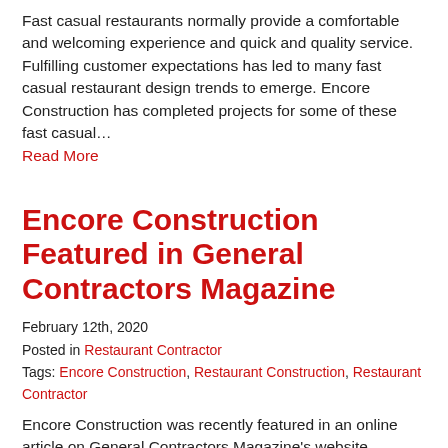Fast casual restaurants normally provide a comfortable and welcoming experience and quick and quality service. Fulfilling customer expectations has led to many fast casual restaurant design trends to emerge. Encore Construction has completed projects for some of these fast casual…
Read More
Encore Construction Featured in General Contractors Magazine
February 12th, 2020
Posted in Restaurant Contractor
Tags: Encore Construction, Restaurant Construction, Restaurant Contractor
Encore Construction was recently featured in an online article on General Contractors Magazine's website.
Fast Casual Chain Restaurant Construction and Design